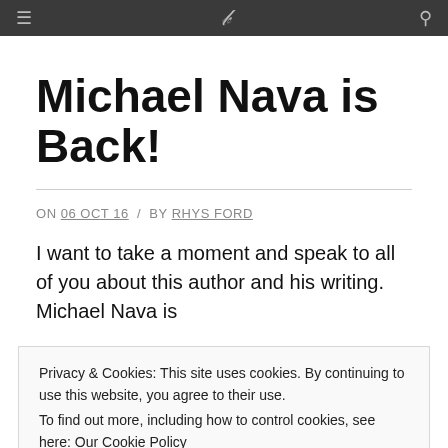Navigation bar with menu icon, site logo/title, and search icon
Michael Nava is Back!
ON 06 OCT 16  /  BY RHYS FORD
I want to take a moment and speak to all of you about this author and his writing. Michael Nava is
Privacy & Cookies: This site uses cookies. By continuing to use this website, you agree to their use.
To find out more, including how to control cookies, see here: Our Cookie Policy
his to be one of our formative influences and